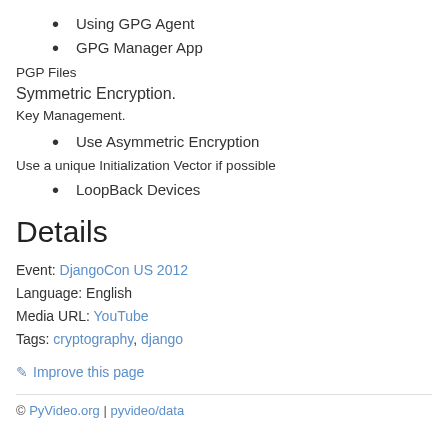Using GPG Agent
GPG Manager App
PGP Files
Symmetric Encryption.
Key Management.
Use Asymmetric Encryption
Use a unique Initialization Vector if possible
LoopBack Devices
Details
Event: DjangoCon US 2012
Language: English
Media URL: YouTube
Tags: cryptography, django
Improve this page
© PyVideo.org | pyvideo/data